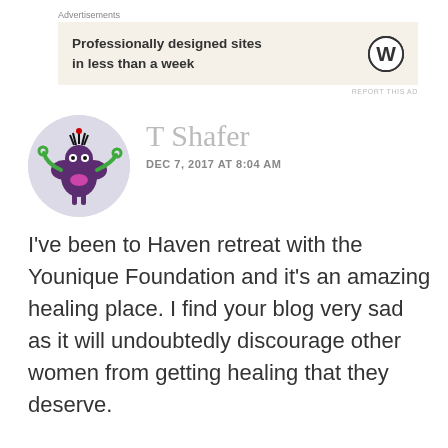Advertisements
[Figure (screenshot): Advertisement banner with text 'Professionally designed sites in less than a week' and WordPress logo on beige background]
REPORT THIS AD
[Figure (illustration): Cartoon character avatar in a circular frame — a purple flower-like creature with green arms, black eyes, and spiky black hair on top]
T Shafer
DEC 7, 2017 AT 8:04 AM
I've been to Haven retreat with the Younique Foundation and it's an amazing healing place. I find your blog very sad as it will undoubtedly discourage other women from getting healing that they deserve.